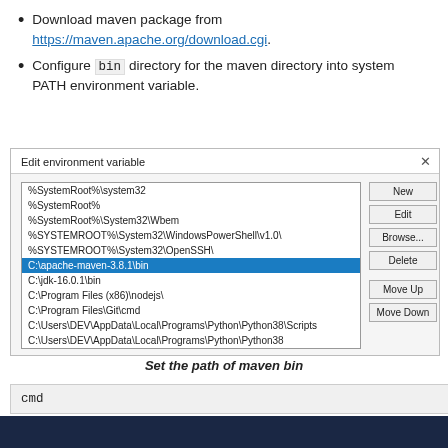Download maven package from https://maven.apache.org/download.cgi.
Configure bin directory for the maven directory into system PATH environment variable.
[Figure (screenshot): Windows 'Edit environment variable' dialog showing PATH entries including C:\apache-maven-3.8.1\bin highlighted in blue, with buttons New, Edit, Browse..., Delete, Move Up, Move Down.]
Set the path of maven bin
cmd